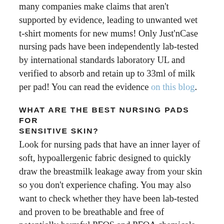many companies make claims that aren't supported by evidence, leading to unwanted wet t-shirt moments for new mums! Only Just'nCase nursing pads have been independently lab-tested by international standards laboratory UL and verified to absorb and retain up to 33ml of milk per pad! You can read the evidence on this blog.
WHAT ARE THE BEST NURSING PADS FOR SENSITIVE SKIN?
Look for nursing pads that have an inner layer of soft, hypoallergenic fabric designed to quickly draw the breastmilk leakage away from your skin so you don't experience chafing. You may also want to check whether they have been lab-tested and proven to be breathable and free of potentially harmful PFOS and PFOA chemicals (more ticks for Just'nCase nursing pads here).